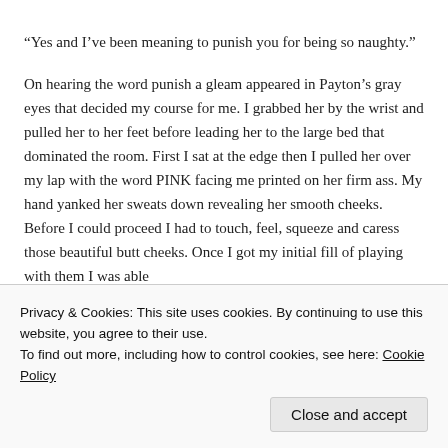“Yes and I’ve been meaning to punish you for being so naughty.”
On hearing the word punish a gleam appeared in Payton’s gray eyes that decided my course for me. I grabbed her by the wrist and pulled her to her feet before leading her to the large bed that dominated the room. First I sat at the edge then I pulled her over my lap with the word PINK facing me printed on her firm ass. My hand yanked her sweats down revealing her smooth cheeks. Before I could proceed I had to touch, feel, squeeze and caress those beautiful butt cheeks. Once I got my initial fill of playing with them I was able
Privacy & Cookies: This site uses cookies. By continuing to use this website, you agree to their use.
To find out more, including how to control cookies, see here: Cookie Policy
Close and accept